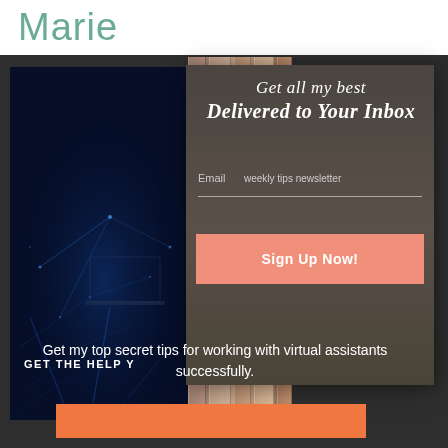Marie
[Figure (screenshot): Newsletter signup popup modal overlaid on a website. Left panel shows a dark blue tech image with light beams/network lines. Right panel shows a vertical-striped book spine background. A modal popup shows 'Get all my best Delivered to Your Inbox' with an email field labeled 'weekly tips newsletter' and a salmon-colored 'Sign Up Now!' button. Bottom text reads 'Get my top secret tips for working with virtual assistants successfully.']